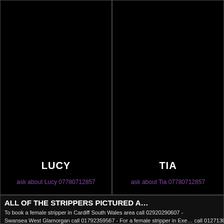[Figure (photo): Black background image for Lucy card (left panel, top portion)]
LUCY
ask about Lucy 07780712857
[Figure (photo): Black background image for Tia card (right panel, top portion)]
TIA
ask about Tia 07780712857
ALL OF THE STRIPPERS PICTURED A...
To book a female stripper in Cardiff South Wales area call 02920290607 - ... Swansea West Glamorgan call 01792359567 - For a female stripper in Exe... call 01271308020 - For a female str...